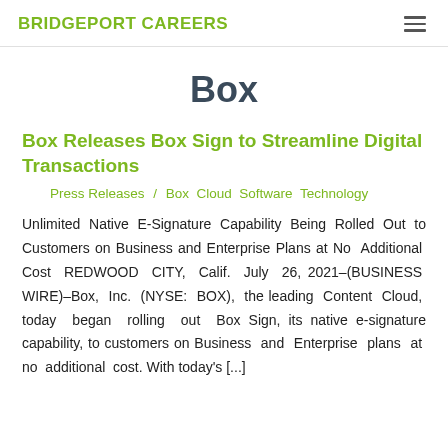BRIDGEPORT CAREERS
Box
Box Releases Box Sign to Streamline Digital Transactions
Press Releases / Box Cloud Software Technology
Unlimited Native E-Signature Capability Being Rolled Out to Customers on Business and Enterprise Plans at No Additional Cost REDWOOD CITY, Calif. July 26, 2021–(BUSINESS WIRE)–Box, Inc. (NYSE: BOX), the leading Content Cloud, today began rolling out Box Sign, its native e-signature capability, to customers on Business and Enterprise plans at no additional cost. With today's [...]